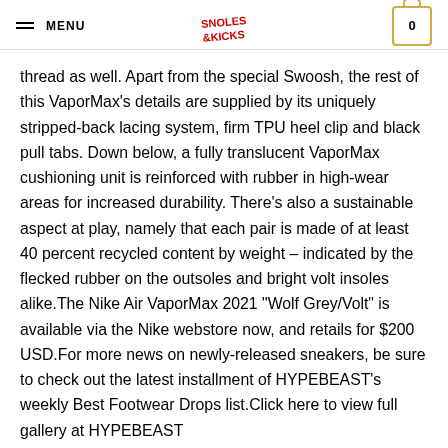MENU | Snoles & Kicks logo | Cart 0
thread as well. Apart from the special Swoosh, the rest of this VaporMax’s details are supplied by its uniquely stripped-back lacing system, firm TPU heel clip and black pull tabs. Down below, a fully translucent VaporMax cushioning unit is reinforced with rubber in high-wear areas for increased durability. There’s also a sustainable aspect at play, namely that each pair is made of at least 40 percent recycled content by weight – indicated by the flecked rubber on the outsoles and bright volt insoles alike.The Nike Air VaporMax 2021 “Wolf Grey/Volt” is available via the Nike webstore now, and retails for $200 USD.For more news on newly-released sneakers, be sure to check out the latest installment of HYPEBEAST’s weekly Best Footwear Drops list.Click here to view full gallery at HYPEBEAST